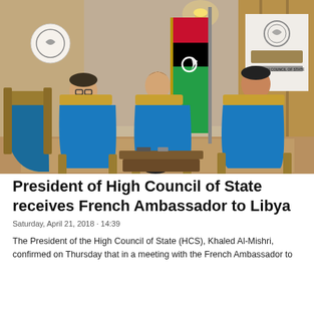[Figure (photo): A meeting scene in an ornate room with gold and blue upholstered chairs. Three people are seated: a man in a blue suit on the left taking notes, a woman in a white blazer and white pants in the center, and a man in a dark suit on the right. A Libyan flag stands in the background along with a banner reading 'The High Council of State' in Arabic and English. A circular logo is visible in the upper left corner of the photo.]
President of High Council of State receives French Ambassador to Libya
Saturday, April 21, 2018 · 14:39
The President of the High Council of State (HCS), Khaled Al-Mishri, confirmed on Thursday that in a meeting with the French Ambassador to